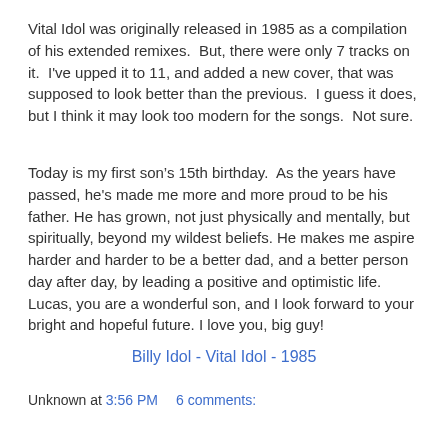Vital Idol was originally released in 1985 as a compilation of his extended remixes.  But, there were only 7 tracks on it.  I've upped it to 11, and added a new cover, that was supposed to look better than the previous.  I guess it does, but I think it may look too modern for the songs.  Not sure.
Today is my first son’s 15th birthday.  As the years have passed, he's made me more and more proud to be his father. He has grown, not just physically and mentally, but spiritually, beyond my wildest beliefs. He makes me aspire harder and harder to be a better dad, and a better person day after day, by leading a positive and optimistic life. Lucas, you are a wonderful son, and I look forward to your bright and hopeful future. I love you, big guy!
Billy Idol - Vital Idol - 1985
Unknown at 3:56 PM    6 comments:
Share